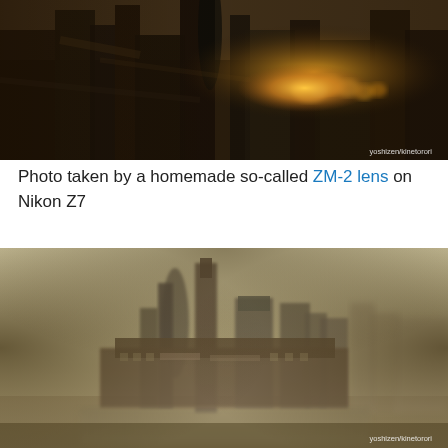[Figure (photo): Blurred artistic cityscape photo of London city buildings taken with a homemade ZM-2 lens on Nikon Z7. Dark moody tones with golden light flares. Watermark: yoshizen/kinetorori]
Photo taken by a homemade so-called ZM-2 lens on Nikon Z7
[Figure (photo): Sepia-toned blurred photo of London city skyline with skyscrapers reflected in the Thames river, taken with a homemade ZM-2 lens on Nikon Z7. Watermark: yoshizen/kinetorori]